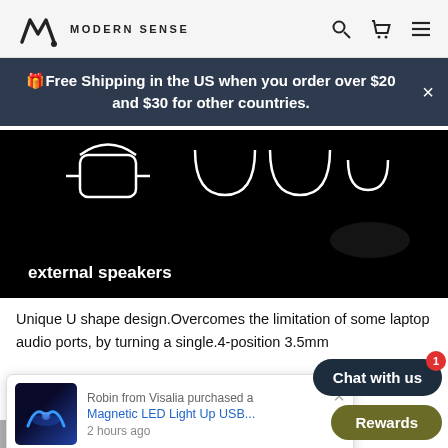MODERN SENSE
🎁Free Shipping in the US when you order over $20 and $30 for other countries.
[Figure (photo): Dark/black product image showing audio port icons and the text 'external speakers']
Unique U shape design.Overcomes the limitation of some laptop audio ports, by turning a single.4-position 3.5mm ... as ... essories w...
[Figure (screenshot): Notification popup: Robin from Visalia purchased a Magnetic LED Light Up USB... 2 hours ago]
Buy here: Headphone Microphone Adap...
Chat with us
Rewards